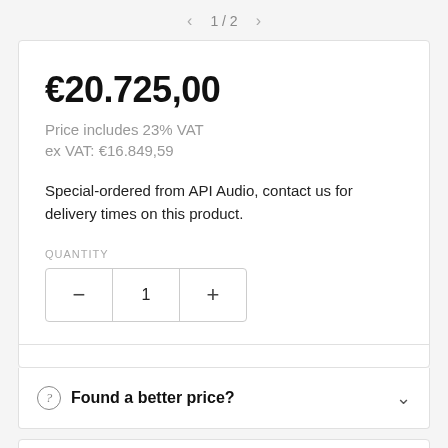1 / 2
€20.725,00
Price includes 23% VAT
ex VAT: €16.849,59
Special-ordered from API Audio, contact us for delivery times on this product.
QUANTITY
− 1 +
Found a better price?